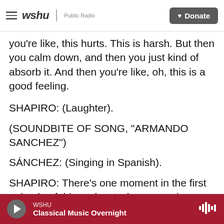wshu | Public Radio — Donate
you're like, this hurts. This is harsh. But then you calm down, and then you just kind of absorb it. And then you're like, oh, this is a good feeling.
SHAPIRO: (Laughter).
(SOUNDBITE OF SONG, "ARMANDO SANCHEZ")
SÁNCHEZ: (Singing in Spanish).
SHAPIRO: There's one moment in the first episode of this podcast where you give a sense of this guy's importance for people who might not be familiar with his music.
WSHU — Classical Music Overnight